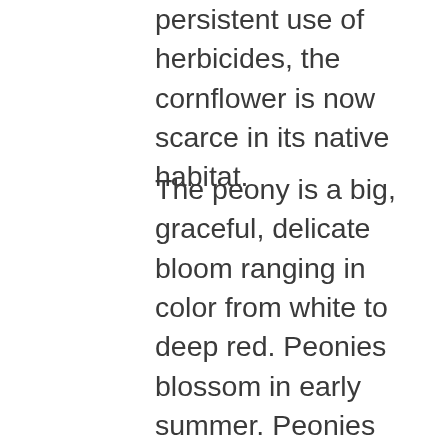persistent use of herbicides, the cornflower is now scarce in its native habitat.
The peony is a big, graceful, delicate bloom ranging in color from white to deep red. Peonies blossom in early summer. Peonies like to be left alone once they are established. Those that are transplanted may not bloom again for a long time. But once it is in place, it produces big, voluptuous blooms every year.
One of the genuine lilies, known as the White Lily is native to Ukraine. The lily forms its bulbs at the base. They have a low circle of leaves that make it through the